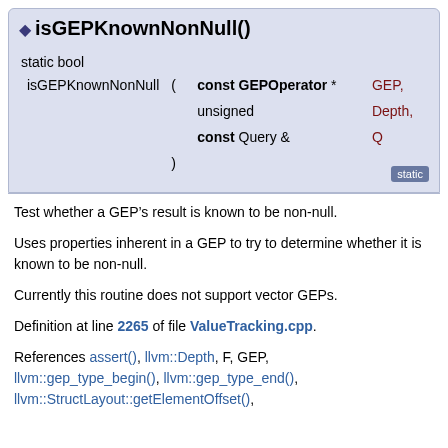isGEPKnownNonNull()
| static bool |  |  |
| isGEPKnownNonNull | ( | const GEPOperator * | GEP, |
|  |  | unsigned | Depth, |
|  |  | const Query & | Q |
|  | ) |  |  |
Test whether a GEP’s result is known to be non-null.
Uses properties inherent in a GEP to try to determine whether it is known to be non-null.
Currently this routine does not support vector GEPs.
Definition at line 2265 of file ValueTracking.cpp.
References assert(), llvm::Depth, F, GEP, llvm::gep_type_begin(), llvm::gep_type_end(), llvm::StructLayout::getElementOffset(),